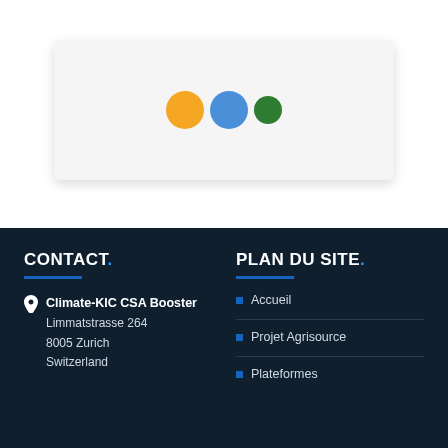[Figure (logo): Three colored circles (yellow, blue, green) on a light grey card, representing a logo or loading indicator]
CONTACT.
Climate-KIC CSA Booster
Limmatstrasse 264
8005 Zurich
Switzerland
PLAN DU SITE.
Accueil
Projet Agrisource
Plateformes